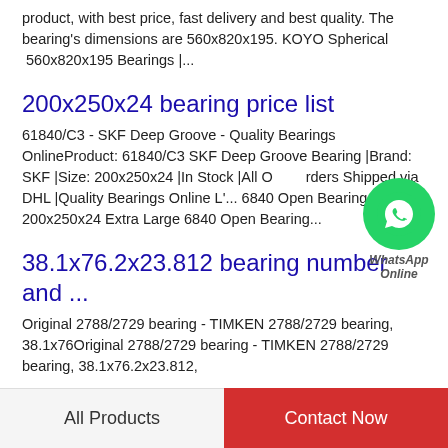product, with best price, fast delivery and best quality. The bearing's dimensions are 560x820x195. KOYO Spherical  560x820x195 Bearings |...
200x250x24 bearing price list
61840/C3 - SKF Deep Groove - Quality Bearings OnlineProduct: 61840/C3 SKF Deep Groove Bearing |Brand: SKF |Size: 200x250x24 |In Stock |All Orders Shipped via DHL |Quality Bearings Online L'... 6840 Open Bearing 200x250x24 Extra Large 6840 Open Bearing...
[Figure (logo): WhatsApp Online green circular button with phone icon and labels 'WhatsApp Online']
38.1x76.2x23.812 bearing number and ...
Original 2788/2729 bearing - TIMKEN 2788/2729 bearing, 38.1x76Original 2788/2729 bearing - TIMKEN 2788/2729 bearing, 38.1x76.2x23.812,
All Products   Contact Now